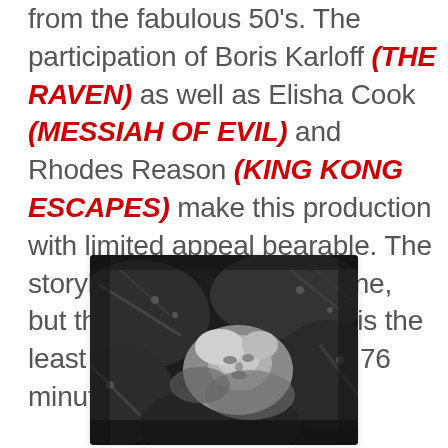from the fabulous 50's. The participation of Boris Karloff (THE RAVEN) as well as Elisha Cook (MESSIAH OF EVIL) and Rhodes Reason (KING KONG ESCAPES) make this production with limited appeal bearable. The storyline is an interesting one, but the voodoo plot device is the least curious aspect of this 76 minute quickie.
[Figure (photo): Black and white photograph showing a person (woman with light hair) lying among what appear to be large inflatable or padded objects, looking upward. The image has a cinematic, dramatic quality consistent with a horror or thriller film still.]